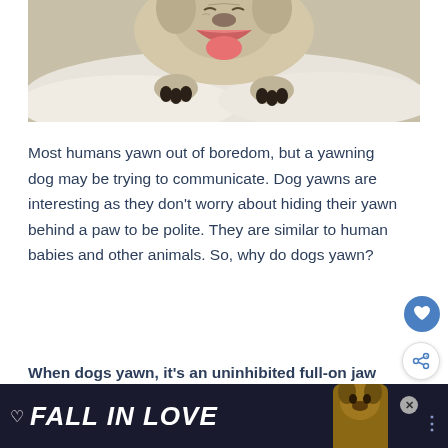[Figure (photo): A light-colored dog (appears to be a pug or similar breed) yawning widely, lying on white bedding/pillows, photographed from above.]
Most humans yawn out of boredom, but a yawning dog may be trying to communicate. Dog yawns are interesting as they don't worry about hiding their yawn behind a paw to be polite. They are similar to human babies and other animals. So, why do dogs yawn?
When dogs yawn, it's an uninhibited full-on jaw stretch followed by a big deep breath. It's
[Figure (other): Advertisement banner: dark navy background with 'FALL IN LOVE' text in large italic white/yellow font, a dog image on the right, heart icon on left, and a close (X) button.]